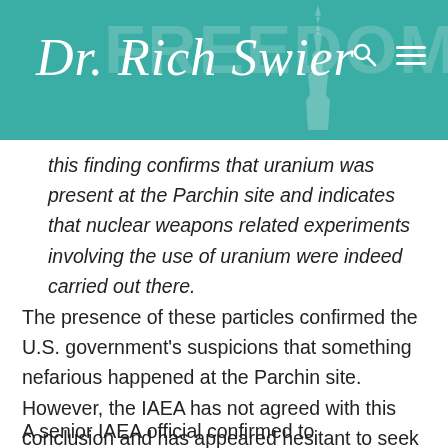Dr. Rich Swier
this finding confirms that uranium was present at the Parchin site and indicates that nuclear weapons related experiments involving the use of uranium were indeed carried out there.
The presence of these particles confirmed the U.S. government's suspicions that something nefarious happened at the Parchin site. However, the IAEA has not agreed with this conclusion and has appeared hesitant to seek a return visit to Parchin for additional samples.
A senior IAEA official confirmed to...